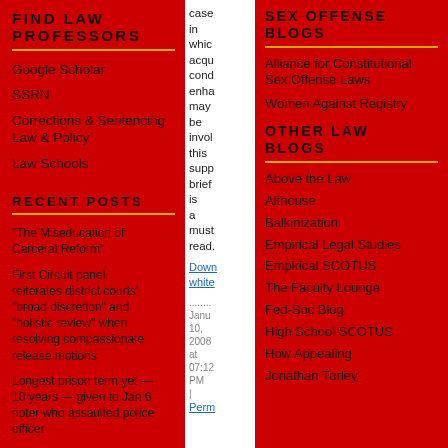FIND LAW PROFESSORS
Google Scholar
SSRN
Corrections & Sentencing Law & Policy
Law Schools
RECENT POSTS
"The Miseducation of Carceral Reform"
First Circuit panel reiterates district courts' "broad discretion" and "holistic review" when resolving compassionate release motions
Longest prison term yet — 10 years — given to Jan 6 rioter who assaulted police officer
case in which acqu cond enha may be invol this supp brief is a must read.
Down white
Janu 10, 2008 at 07:12 PM | Perm
SEX OFFENSE BLOGS
Alliance for Constitutional Sex Offense Laws
Women Against Registry
OTHER LAW BLOGS
Above the Law
Althouse
Balkinization
Empirical Legal Studies
Empirical SCOTUS
The Faculty Lounge
Fed-Soc Blog
High School SCOTUS
How Appealing
Jonathan Turley